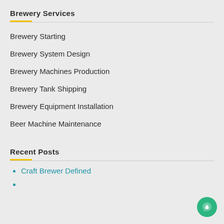Brewery Services
Brewery Starting
Brewery System Design
Brewery Machines Production
Brewery Tank Shipping
Brewery Equipment Installation
Beer Machine Maintenance
Recent Posts
Craft Brewer Defined